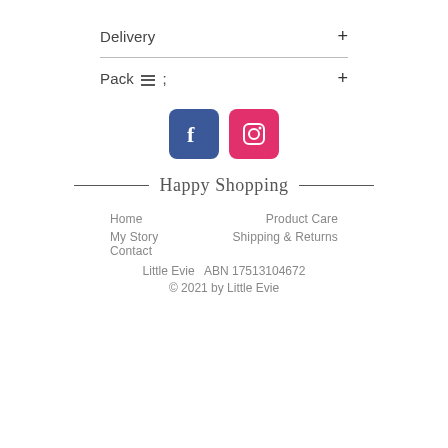Delivery +
Pack [hamburger icon] ; +
[Figure (logo): Facebook and Instagram social media icons side by side]
Happy Shopping
Home     Product Care
My Story     Shipping & Returns
Contact
Little Evie  ABN 17513104672
© 2021 by Little Evie